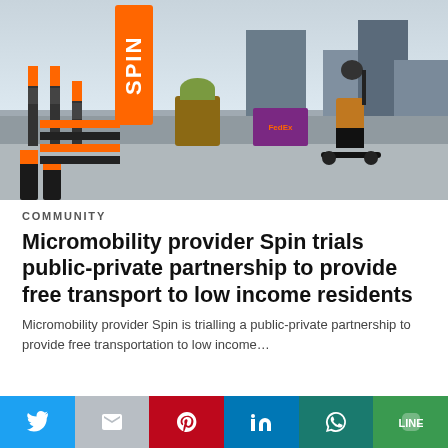[Figure (photo): Woman wearing helmet riding a Spin electric scooter in an urban setting with multiple Spin scooters parked at a station, city buildings in background, FedEx truck visible]
COMMUNITY
Micromobility provider Spin trials public-private partnership to provide free transport to low income residents
Micromobility provider Spin is trialling a public-private partnership to provide free transportation to low income…